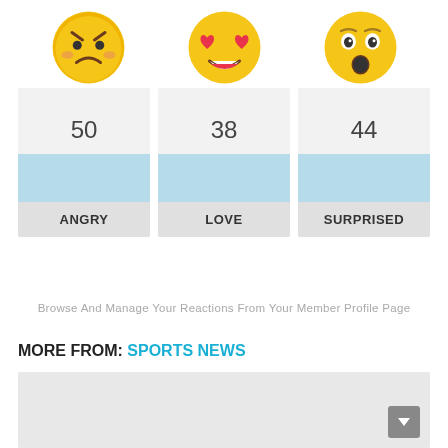[Figure (illustration): Three emoji faces: angry face (red/orange frown), heart-eyes love face (red heart eyes), and surprised/wow face (wide open mouth)]
| ANGRY | LOVE | SURPRISED |
| --- | --- | --- |
| 50 | 38 | 44 |
Browse And Manage Your Reactions From Your Member Profile Page
MORE FROM: SPORTS NEWS
[Figure (photo): Gray placeholder image for a sports news article]